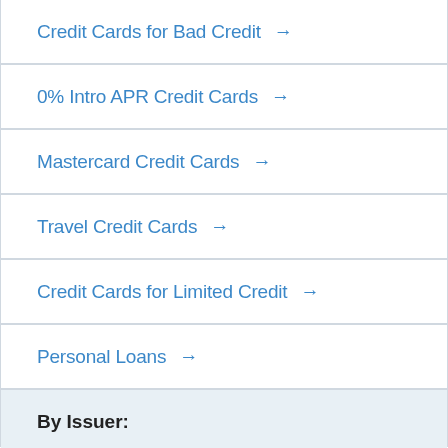Credit Cards for Bad Credit →
0% Intro APR Credit Cards →
Mastercard Credit Cards →
Travel Credit Cards →
Credit Cards for Limited Credit →
Personal Loans →
By Issuer:
American Express →